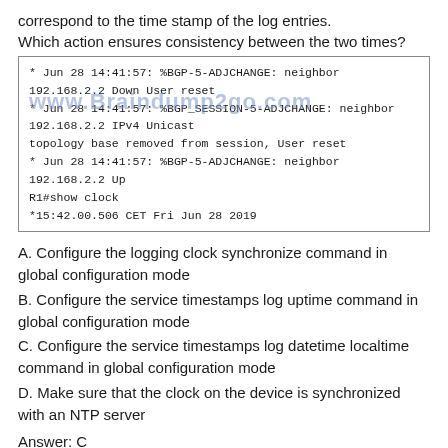correspond to the time stamp of the log entries.
Which action ensures consistency between the two times?
[Figure (screenshot): Code/log box showing BGP log entries and clock output:
* Jun 28 14:41:57: %BGP-5-ADJCHANGE: neighbor 192.168.2.2 Down User reset
* Jun 28 14:41:57: %BGP_SESSION-5-ADJCHANGE: neighbor 192.168.2.2 IPv4 Unicast topology base removed from session, User reset
* Jun 28 14:41:57: %BGP-5-ADJCHANGE: neighbor 192.168.2.2 Up
R1#show clock
*15:42.00.506 CET Fri Jun 28 2019]
A. Configure the logging clock synchronize command in global configuration mode
B. Configure the service timestamps log uptime command in global configuration mode
C. Configure the service timestamps log datetime localtime command in global configuration mode
D. Make sure that the clock on the device is synchronized with an NTP server
Answer: C
Explanation:
Even we had a synchronized clock but it may show different